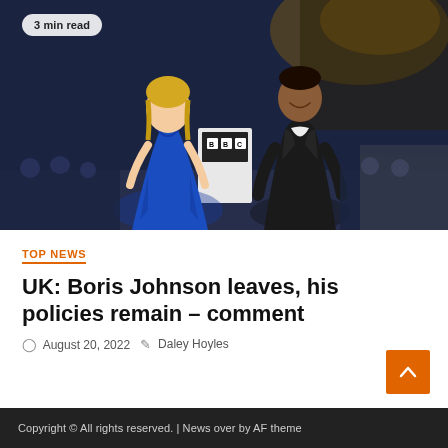[Figure (photo): Two people standing on a stage at a BBC debate event. A woman in a blue dress on the left and a man in a dark suit on the right, with audience members visible in the background. A BBC logo podium is visible center-stage.]
3 min read
TOP NEWS
UK: Boris Johnson leaves, his policies remain – comment
August 20, 2022   Daley Hoyles
Copyright © All rights reserved. | News over by AF theme